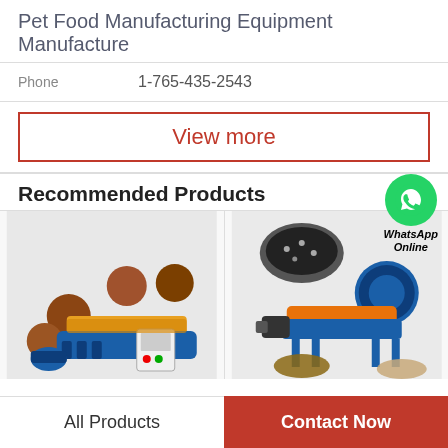Pet Food Manufacturing Equipment Manufacture
Phone   1-765-435-2543
View more
Recommended Products
[Figure (photo): Pet food manufacturing machine with blue extruder and yellow components, surrounded by round pet food pellets]
[Figure (photo): Blue and orange pet food drying/processing machine with motor and conveyor, with round grain/pellet product samples. WhatsApp Online button overlay with green WhatsApp icon.]
All Products
Contact Now